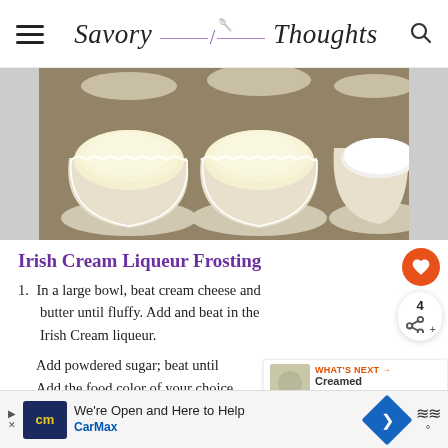Savory Thoughts
[Figure (photo): Cupcake tray with white paper liners filled with cream cheese/butter mixture, uncooked, viewed from above on a dark baking tray]
Irish Cream Liqueur Frosting
1. In a large bowl, beat cream cheese and butter until fluffy. Add and beat in the Irish Cream liqueur.
Add powdered sugar; beat until
Add the food color of your choice
[Figure (photo): WHAT'S NEXT thumbnail - Creamed Spinach]
We're Open and Here to Help CarMax (advertisement)